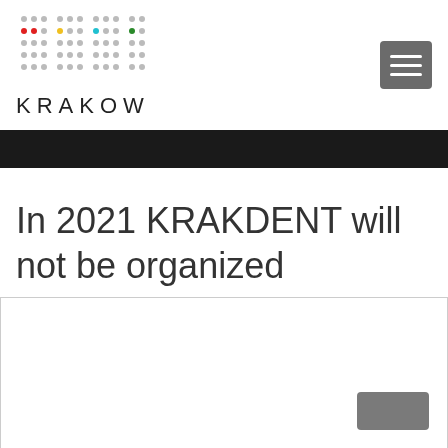[Figure (logo): EPM Krakow logo with dot grid pattern and colored dots (red, yellow, cyan, green) above the text KRAKOW]
In 2021 KRAKDENT will not be organized
the first of March 22 organized
[Figure (screenshot): White dialog or overlay box at bottom of page with a gray button in the lower right corner]